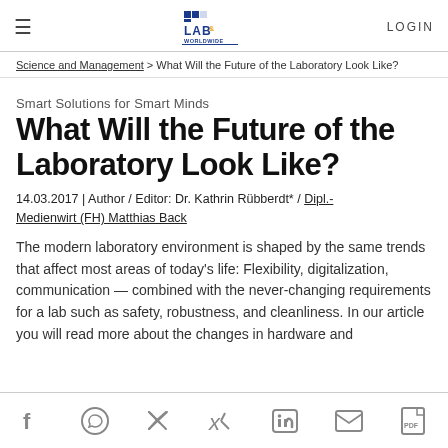LAB & WORLDWIDE | LOGIN
Science and Management > What Will the Future of the Laboratory Look Like?
Smart Solutions for Smart Minds
What Will the Future of the Laboratory Look Like?
14.03.2017 | Author / Editor: Dr. Kathrin Rübberdt* / Dipl.-Medienwirt (FH) Matthias Back
The modern laboratory environment is shaped by the same trends that affect most areas of today's life: Flexibility, digitalization, communication — combined with the never-changing requirements for a lab such as safety, robustness, and cleanliness. In our article you will read more about the changes in hardware and